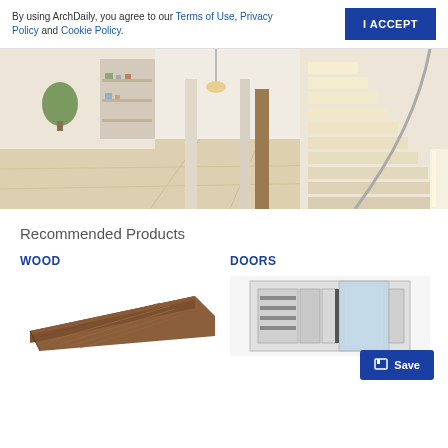By using ArchDaily, you agree to our Terms of Use, Privacy Policy and Cookie Policy.
[Figure (photo): Modern interior with light wood flooring, white staircase with metal railing, bookshelves and pendant lighting]
Recommended Products
WOOD
DOORS
[Figure (photo): Close-up of a dark warm-toned hardwood plank showing wood grain texture]
[Figure (photo): Cross-section of a white PVC door/window frame showing internal chambers]